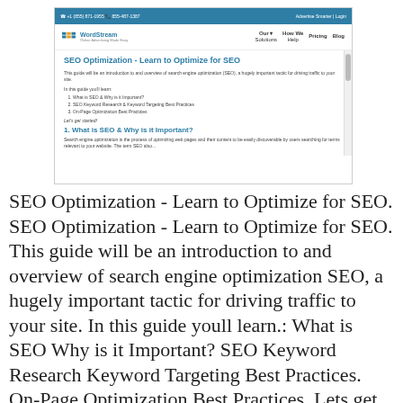[Figure (screenshot): Screenshot of WordStream website showing SEO Optimization page with navigation bar, page title 'SEO Optimization - Learn to Optimize for SEO', introductory text, numbered list of topics, and beginning of section 1.]
SEO Optimization - Learn to Optimize for SEO.
SEO Optimization - Learn to Optimize for SEO. This guide will be an introduction to and overview of search engine optimization SEO, a hugely important tactic for driving traffic to your site. In this guide youll learn.: What is SEO Why is it Important? SEO Keyword Research Keyword Targeting Best Practices. On-Page Optimization Best Practices. Lets get started! What is SEO Why is it Important? Search engine optimization is the process of